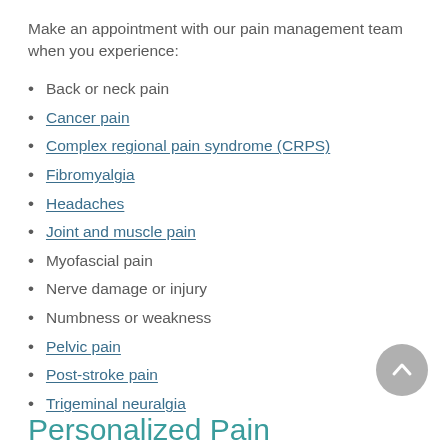Make an appointment with our pain management team when you experience:
Back or neck pain
Cancer pain
Complex regional pain syndrome (CRPS)
Fibromyalgia
Headaches
Joint and muscle pain
Myofascial pain
Nerve damage or injury
Numbness or weakness
Pelvic pain
Post-stroke pain
Trigeminal neuralgia
Personalized Pain